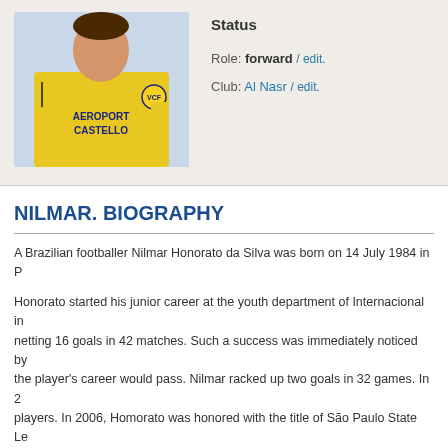[Figure (photo): Photo of footballer Nilmar wearing a yellow Villarreal jersey with Aeroport Castello sponsor and Puma branding]
Status
Role: forward / edit.
Club: Al Nasr / edit.
NILMAR. BIOGRAPHY
A Brazilian footballer Nilmar Honorato da Silva was born on 14 July 1984 in P
Honorato started his junior career at the youth department of Internacional in... netting 16 goals in 42 matches. Such a success was immediately noticed by... the player's career would pass. Nilmar racked up two goals in 32 games. In 2... players. In 2006, Homorato was honored with the title of São Paulo State Le... to rejoin the former club – Internacional. He debuted for the main team on 4... Sudamericana Top Goal scorer, after his club became the champion of the 2...
In 2009, a deal was finalized with Villarreal. The spell was lined with 26 goals